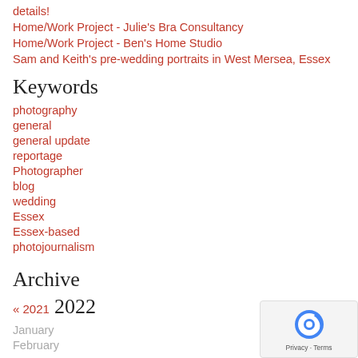details!
Home/Work Project - Julie's Bra Consultancy
Home/Work Project - Ben's Home Studio
Sam and Keith's pre-wedding portraits in West Mersea, Essex
Keywords
photography
general
general update
reportage
Photographer
blog
wedding
Essex
Essex-based
photojournalism
Archive
« 2021  2022
January
February